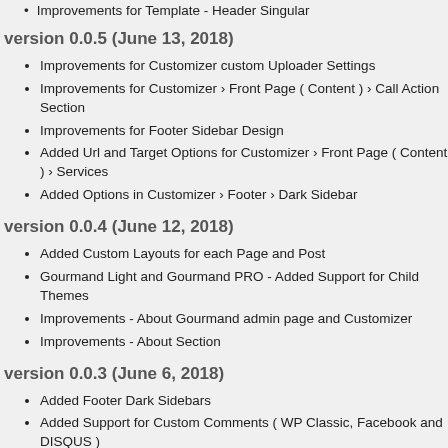Improvements for Template - Header Singular
version 0.0.5 (June 13, 2018)
Improvements for Customizer custom Uploader Settings
Improvements for Customizer › Front Page ( Content ) › Call Action Section
Improvements for Footer Sidebar Design
Added Url and Target Options for Customizer › Front Page ( Content ) › Services
Added Options in Customizer › Footer › Dark Sidebar
version 0.0.4 (June 12, 2018)
Added Custom Layouts for each Page and Post
Gourmand Light and Gourmand PRO - Added Support for Child Themes
Improvements - About Gourmand admin page and Customizer
Improvements - About Section
version 0.0.3 (June 6, 2018)
Added Footer Dark Sidebars
Added Support for Custom Comments ( WP Classic, Facebook and DISQUS )
Comments ( 518 )